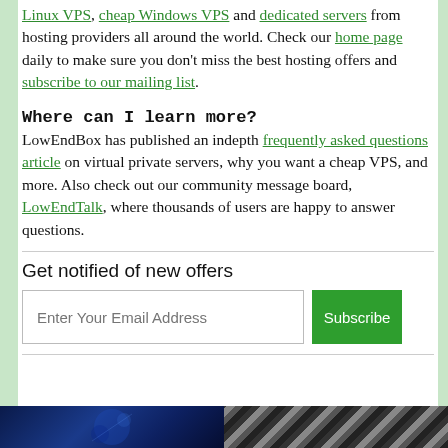Linux VPS, cheap Windows VPS and dedicated servers from hosting providers all around the world. Check our home page daily to make sure you don't miss the best hosting offers and subscribe to our mailing list.
Where can I learn more?
LowEndBox has published an indepth frequently asked questions article on virtual private servers, why you want a cheap VPS, and more. Also check out our community message board, LowEndTalk, where thousands of users are happy to answer questions.
Get notified of new offers
[Figure (other): Email subscription form with text input 'Enter Your Email Address' and green 'Subscribe' button]
[Figure (photo): Bottom strip showing two images: left is a dark blue nebula/space image, right is a dark diagonal striped pattern]